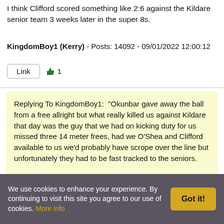I think Clifford scored something like 2:6 against the Kildare senior team 3 weeks later in the super 8s.
KingdomBoy1 (Kerry) - Posts: 14092 - 09/01/2022 12:00:12
Replying To KingdomBoy1: "Okunbar gave away the ball from a free allright but what really killed us against Kildare that day was the guy that we had on kicking duty for us missed three 14 meter frees, had we O'Shea and Clifford available to us we'd probably have scrope over the line but unfortunately they had to be fast tracked to the seniors.

I think Clifford scored something like 2:6 against the Kildare senior team 3 weeks later in the super 8s."
We use cookies to enhance your experience. By continuing to visit this site you agree to our use of cookies. More info